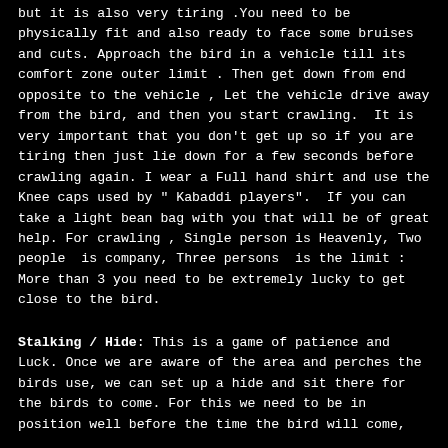but it is also very tiring .You need to be physically fit and also ready to face some bruises and cuts. Approach the bird in a vehicle till its comfort zone outer limit . Then get down from end opposite to the vehicle , Let the vehicle drive away from the bird, and then you start crawling.  It is very important that you don't get up so if you are tiring then just lie down for a few seconds before crawling again. I wear a Full hand shirt and use the Knee caps used by " Kabaddi players".  If you can take a light bean bag with you that will be of great help. For crawling , Single person is Heavenly, Two people  is company, Three persons  is the limit : More than 3 you need to be extremely lucky to get close to the bird.
Stalking / Hide: This is a game of patience and Luck. Once we are aware of the area and perches the birds use, we can set up a hide and sit there for the birds to come. For this we need to be in position well before the time the bird will come,